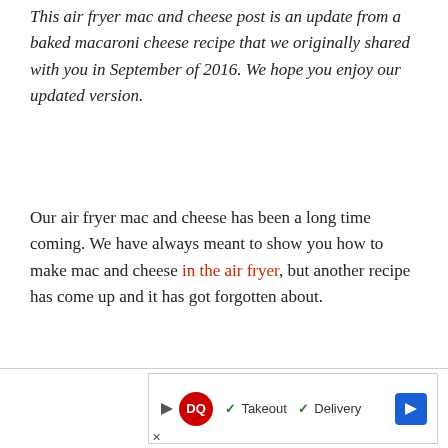This air fryer mac and cheese post is an update from a baked macaroni cheese recipe that we originally shared with you in September of 2016. We hope you enjoy our updated version.
Our air fryer mac and cheese has been a long time coming. We have always meant to show you how to make mac and cheese in the air fryer, but another recipe has come up and it has got forgotten about.
[Figure (other): Dairy Queen advertisement banner with logo, checkmarks for Takeout and Delivery, and a blue navigation arrow icon]